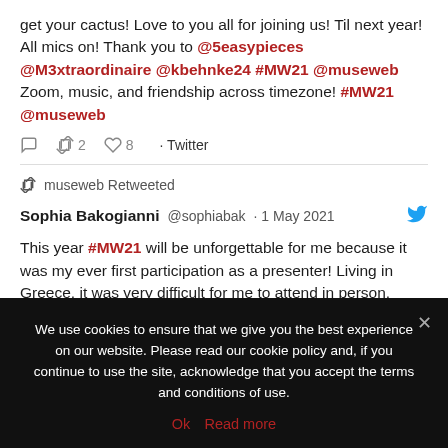get your cactus! Love to you all for joining us! Til next year! All mics on! Thank you to @5easypieces @M3xtraordinaire @kbehnke24 #MW21 @museweb Zoom, music, and friendship across timezone! #MW21 @museweb
Reply 2 Retweet 8 Like · Twitter
museweb Retweeted
Sophia Bakogianni @sophiabak · 1 May 2021
This year #MW21 will be unforgettable for me because it was my ever first participation as a presenter! Living in Greece, it was very difficult for me to attend in person, although I am a big fan of
We use cookies to ensure that we give you the best experience on our website. Please read our cookie policy and, if you continue to use the site, acknowledge that you accept the terms and conditions of use.
Ok  Read more